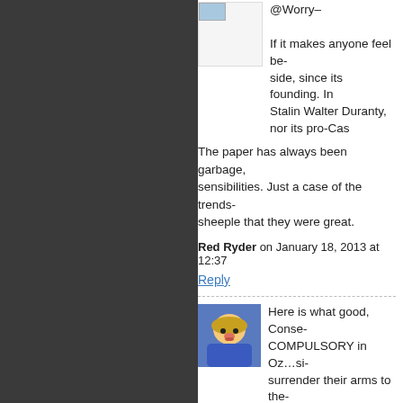@Worry–
If it makes anyone feel be- side, since its founding. In Stalin Walter Duranty, nor its pro-Cas
The paper has always been garbage, sensibilities. Just a case of the trends- sheeple that they were great.
Red Ryder on January 18, 2013 at 12:37
Reply
Here is what good, Conse- COMPULSORY in Oz…si- surrender their arms to the- they'll jettison the corrupt J-
In the state of Victoria gun homicides
Homicides are up 6.2%
Assaults are up 9.6%
Armed robberies (the robbers are ILL-